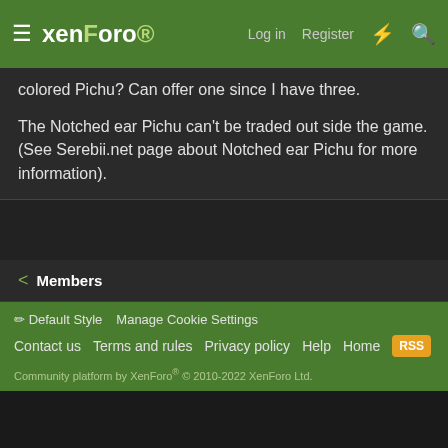☰ xenForo Log in Register ⚡ 🔍
colored Pichu? Can offer one since I have three.
The Notched ear Pichu can't be traded out side the game. (See Serebii.net page about Notched ear Pichu for more information).
< Members
✏ Default Style  Manage Cookie Settings  Contact us  Terms and rules  Privacy policy  Help  Home  RSS  Community platform by XenForo® © 2010-2022 XenForo Ltd.